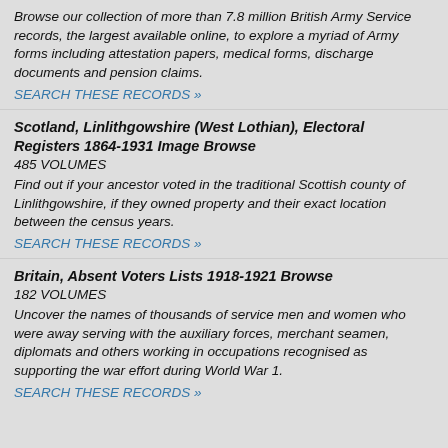Browse our collection of more than 7.8 million British Army Service records, the largest available online, to explore a myriad of Army forms including attestation papers, medical forms, discharge documents and pension claims.
SEARCH THESE RECORDS »
Scotland, Linlithgowshire (West Lothian), Electoral Registers 1864-1931 Image Browse
485 VOLUMES
Find out if your ancestor voted in the traditional Scottish county of Linlithgowshire, if they owned property and their exact location between the census years.
SEARCH THESE RECORDS »
Britain, Absent Voters Lists 1918-1921 Browse
182 VOLUMES
Uncover the names of thousands of service men and women who were away serving with the auxiliary forces, merchant seamen, diplomats and others working in occupations recognised as supporting the war effort during World War 1.
SEARCH THESE RECORDS »